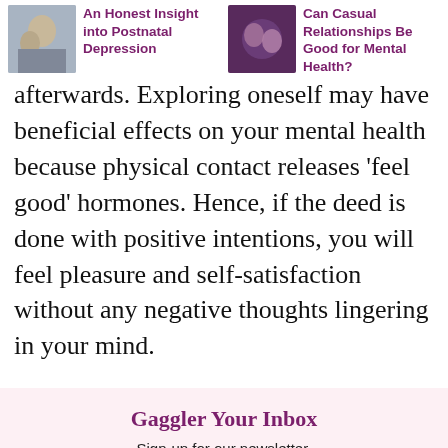An Honest Insight into Postnatal Depression | Can Casual Relationships Be Good for Mental Health?
afterwards. Exploring oneself may have beneficial effects on your mental health because physical contact releases ‘feel good’ hormones. Hence, if the deed is done with positive intentions, you will feel pleasure and self-satisfaction without any negative thoughts lingering in your mind.
Gaggler Your Inbox
Sign-up for our newsletter.
First Name